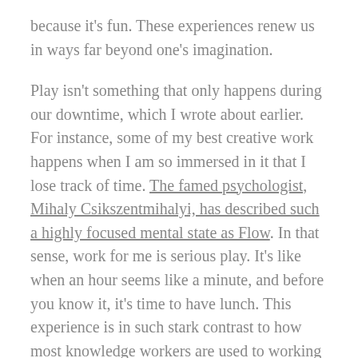because it's fun. These experiences renew us in ways far beyond one's imagination.
Play isn't something that only happens during our downtime, which I wrote about earlier. For instance, some of my best creative work happens when I am so immersed in it that I lose track of time. The famed psychologist, Mihaly Csikszentmihalyi, has described such a highly focused mental state as Flow. In that sense, work for me is serious play. It's like when an hour seems like a minute, and before you know it, it's time to have lunch. This experience is in such stark contrast to how most knowledge workers are used to working amidst countless distractions and/or interruptions from others. The thing is, anything you create of value requires uninterrupted focus for large chunks of time. Without that, real value creation is not possible. As Picasso has aptly said, without solitude, no serious work is possible.
These present experiences remind me that we played every day as kids. We would come back from school, eat